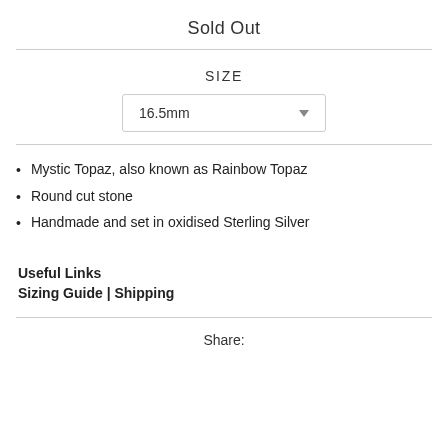Sold Out
SIZE
16.5mm
Mystic Topaz, also known as Rainbow Topaz
Round cut stone
Handmade and set in oxidised Sterling Silver
Useful Links
Sizing Guide | Shipping
Share: